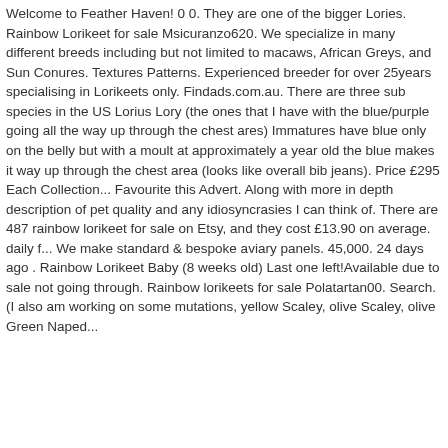Welcome to Feather Haven! 0 0. They are one of the bigger Lories. Rainbow Lorikeet for sale Msicuranzo620. We specialize in many different breeds including but not limited to macaws, African Greys, and Sun Conures. Textures Patterns. Experienced breeder for over 25years specialising in Lorikeets only. Findads.com.au. There are three sub species in the US Lorius Lory (the ones that I have with the blue/purple going all the way up through the chest ares) Immatures have blue only on the belly but with a moult at approximately a year old the blue makes it way up through the chest area (looks like overall bib jeans). Price £295 Each Collection... Favourite this Advert. Along with more in depth description of pet quality and any idiosyncrasies I can think of. There are 487 rainbow lorikeet for sale on Etsy, and they cost £13.90 on average. daily f... We make standard & bespoke aviary panels. 45,000. 24 days ago . Rainbow Lorikeet Baby (8 weeks old) Last one left!Available due to sale not going through. Rainbow lorikeets for sale Polatartan00. Search. (I also am working on some mutations, yellow Scaley, olive Scaley, olive Green Naped...